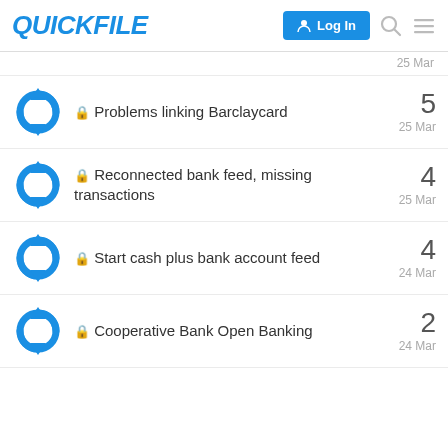QuickFile | Log In
25 Mar
🔒 Problems linking Barclaycard — 5 replies — 25 Mar
🔒 Reconnected bank feed, missing transactions — 4 replies — 25 Mar
🔒 Start cash plus bank account feed — 4 replies — 24 Mar
🔒 Cooperative Bank Open Banking — 2 replies — 24 Mar